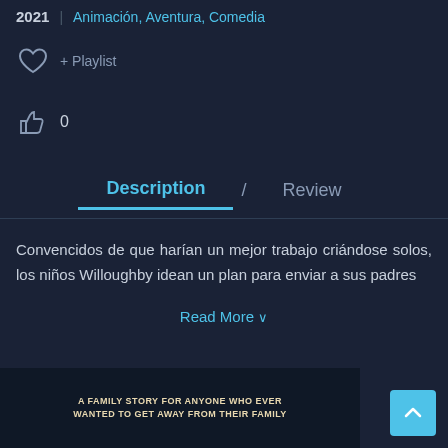2021 | Animación, Aventura, Comedia
+ Playlist
0
Description / Review
Convencidos de que harían un mejor trabajo criándose solos, los niños Willoughby idean un plan para enviar a sus padres
Read More ∨
[Figure (photo): Movie promotional image with text: A FAMILY STORY FOR ANYONE WHO EVER WANTED TO GET AWAY FROM THEIR FAMILY]